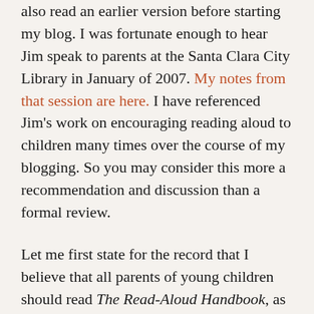also read an earlier version before starting my blog. I was fortunate enough to hear Jim speak to parents at the Santa Clara City Library in January of 2007. My notes from that session are here. I have referenced Jim's work on encouraging reading aloud to children many times over the course of my blogging. So you may consider this more a recommendation and discussion than a formal review.
Let me first state for the record that I believe that all parents of young children should read The Read-Aloud Handbook, as should all elementary and middle school teachers. The Read-Aloud Handbook started out as a little booklet that the author self-published in 1979 to encourage other parents to read aloud,